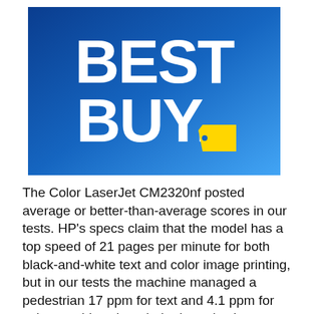[Figure (logo): Best Buy logo: white bold text 'BEST BUY.' with a yellow price tag icon on a blue gradient background (dark blue top-left to lighter blue bottom-right).]
The Color LaserJet CM2320nf posted average or better-than-average scores in our tests. HP's specs claim that the model has a top speed of 21 pages per minute for both black-and-white text and color image printing, but in our tests the machine managed a pedestrian 17 ppm for text and 4.1 ppm for color graphics–though the latter is above